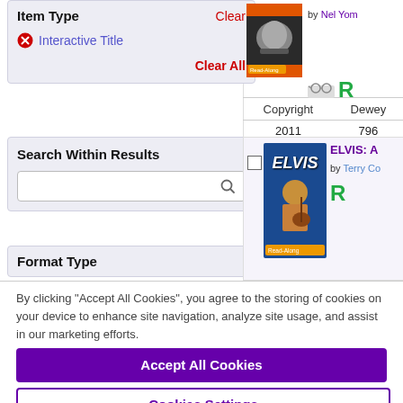Item Type
Clear
Interactive Title
Clear All
Search Within Results
Format Type
by Nel Yom…
| Copyright | Dewey |
| --- | --- |
| 2011 | 796 |
ELVIS: A…
by Terry Co…
By clicking “Accept All Cookies”, you agree to the storing of cookies on your device to enhance site navigation, analyze site usage, and assist in our marketing efforts.
Accept All Cookies
Cookies Settings